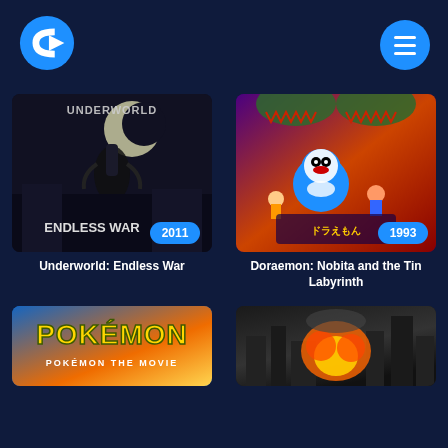[Figure (logo): Circled C logo for streaming app]
[Figure (screenshot): App grid showing movie thumbnails: Underworld: Endless War (2011), Doraemon: Nobita and the Tin Labyrinth (1993), Pokemon movie (partial), city destruction movie (partial)]
Underworld: Endless War
Doraemon: Nobita and the Tin Labyrinth